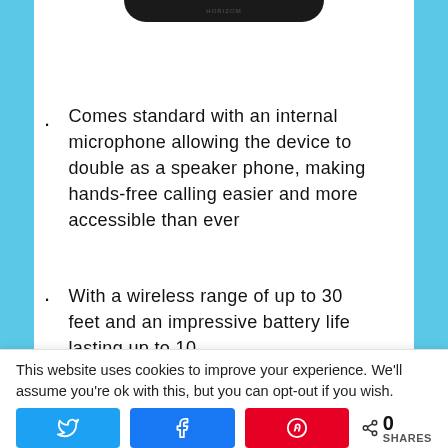[Figure (photo): Bottom edge of a black electronic device (speaker/Bluetooth device) showing the underside curve]
Comes standard with an internal microphone allowing the device to double as a speaker phone, making hands-free calling easier and more accessible than ever
With a wireless range of up to 30 feet and an impressive battery life lasting up to 10
This website uses cookies to improve your experience. We'll assume you're ok with this, but you can opt-out if you wish.
0 SHARES